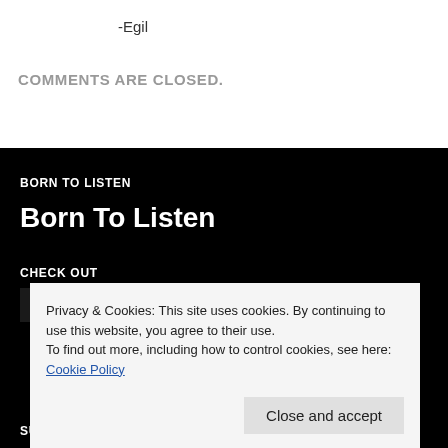-Egil
COMMENTS ARE CLOSED.
BORN TO LISTEN
Born To Listen
CHECK OUT
Privacy & Cookies: This site uses cookies. By continuing to use this website, you agree to their use.
To find out more, including how to control cookies, see here: Cookie Policy
Close and accept
SUBSCRIBE TO BLOG VIA EMAIL